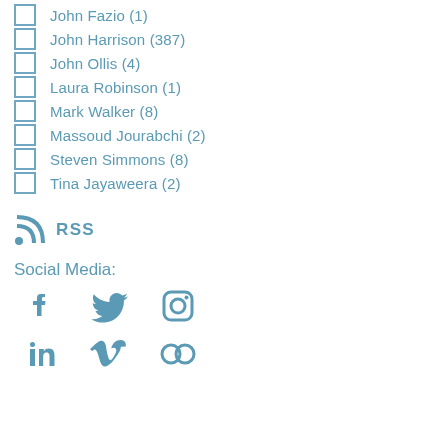John Fazio (1)
John Harrison (387)
John Ollis (4)
Laura Robinson (1)
Mark Walker (8)
Massoud Jourabchi (2)
Steven Simmons (8)
Tina Jayaweera (2)
RSS
Social Media:
[Figure (other): Social media icons: Facebook, Twitter, Instagram, LinkedIn, Vimeo, Flickr (partial view)]